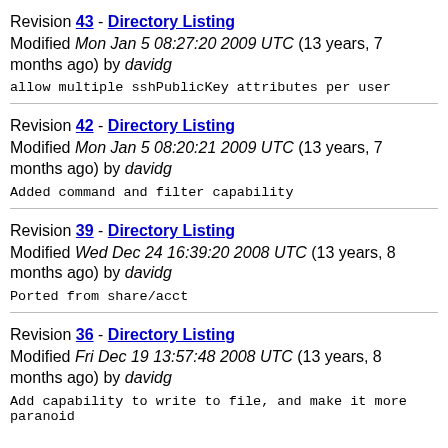Revision 43 - Directory Listing
Modified Mon Jan 5 08:27:20 2009 UTC (13 years, 7 months ago) by davidg
allow multiple sshPublicKey attributes per user
Revision 42 - Directory Listing
Modified Mon Jan 5 08:20:21 2009 UTC (13 years, 7 months ago) by davidg
Added command and filter capability
Revision 39 - Directory Listing
Modified Wed Dec 24 16:39:20 2008 UTC (13 years, 8 months ago) by davidg
Ported from share/acct
Revision 36 - Directory Listing
Modified Fri Dec 19 13:57:48 2008 UTC (13 years, 8 months ago) by davidg
Add capability to write to file, and make it more paranoid